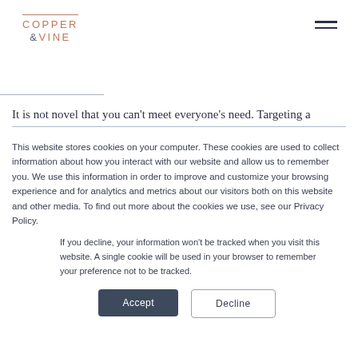[Figure (logo): Copper & Vine logo with decorative line above text]
It is not novel that you can't meet everyone's need. Targeting a
This website stores cookies on your computer. These cookies are used to collect information about how you interact with our website and allow us to remember you. We use this information in order to improve and customize your browsing experience and for analytics and metrics about our visitors both on this website and other media. To find out more about the cookies we use, see our Privacy Policy.
If you decline, your information won't be tracked when you visit this website. A single cookie will be used in your browser to remember your preference not to be tracked.
Accept
Decline